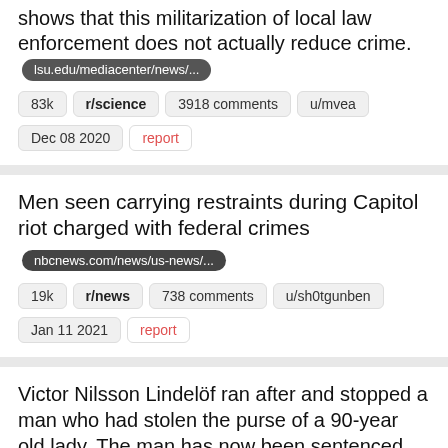shows that this militarization of local law enforcement does not actually reduce crime. lsu.edu/mediacenter/news/...
83k  r/science  3918 comments  u/mvea
Dec 08 2020  report
Men seen carrying restraints during Capitol riot charged with federal crimes  nbcnews.com/news/us-news/...
19k  r/news  738 comments  u/sh0tgunben
Jan 11 2021  report
Victor Nilsson Lindelöf ran after and stopped a man who had stolen the purse of a 90-year old lady. The man has now been sentenced for his crime. "He was